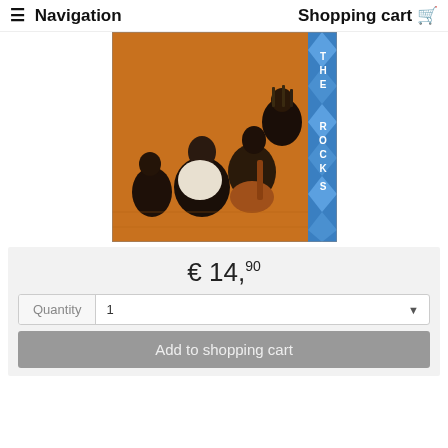≡ Navigation   Shopping cart 🛒
[Figure (photo): Album cover for 'The Rocks' showing musicians sitting/lounging on a textured orange/brown rug. Several people are visible, one playing an acoustic guitar. Blue diamond pattern on right edge with vertical text reading 'THE ROCKS'.]
€ 14,90
Quantity  1
Add to shopping cart